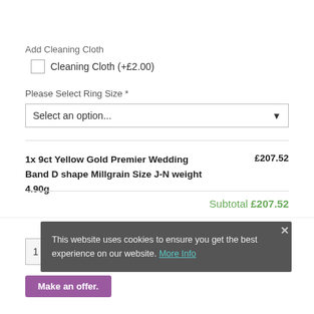Add Cleaning Cloth
Cleaning Cloth (+£2.00)
Please Select Ring Size *
Select an option...
1x 9ct Yellow Gold Premier Wedding Band D shape Millgrain Size J-N weight 4.90g   £207.52
Subtotal £207.52
1
ADD TO BASKET
Make an offer.
This website uses cookies to ensure you get the best experience on our website. More Info